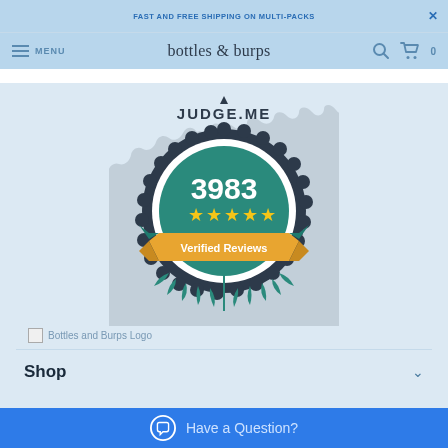FAST AND FREE SHIPPING ON MULTI-PACKS
bottles & burps — MENU
[Figure (logo): Judge.me verified reviews badge: dark navy scalloped seal with teal circle center showing '3983' and five yellow stars, orange ribbon banner reading 'Verified Reviews', teal laurel wreath below, 'JUDGE.ME' text above]
[Figure (logo): Bottles and Burps Logo (broken image placeholder)]
Shop
Have a Question?